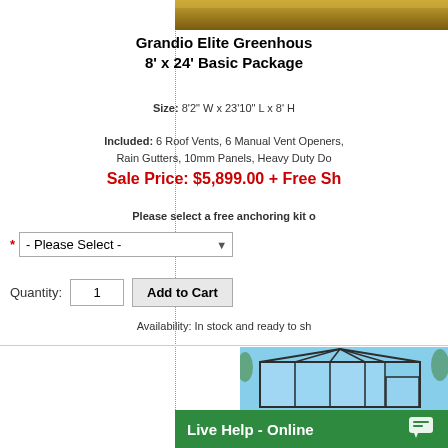[Figure (photo): Partial product photo of Grandio Elite Greenhouse, top portion showing golden/brown roof material]
Grandio Elite Greenhouse 8' x 24' Basic Package
Size: 8'2" W x 23'10" L x 8' H
Included: 6 Roof Vents, 6 Manual Vent Openers, Rain Gutters, 10mm Panels, Heavy Duty Do
Sale Price: $5,899.00 + Free Sh
Please select a free anchoring kit o
- Please Select -
Quantity: 1
Add to Cart
Availability: In stock and ready to sh
[Figure (photo): Photo of Grandio Elite Greenhouse exterior showing glass/polycarbonate panel structure against blue sky]
Live Help - Online